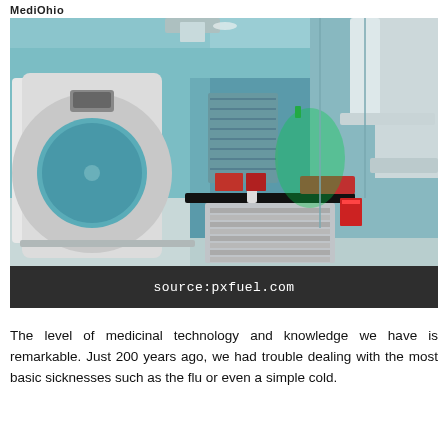MediOhio
[Figure (photo): Interior of a medical CT scanner room with a large white CT machine with circular gantry opening on the left, teal/green colored walls, a patient table in the center, and various medical equipment. Green laser light visible in the background.]
source:pxfuel.com
The level of medicinal technology and knowledge we have is remarkable. Just 200 years ago, we had trouble dealing with the most basic sicknesses such as the flu or even a simple cold.